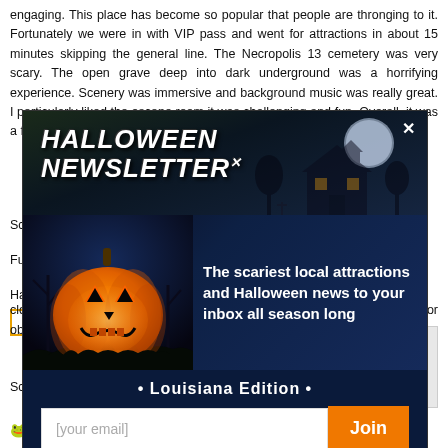engaging. This place has become so popular that people are thronging to it. Fortunately we were in with VIP pass and went for attractions in about 15 minutes skipping the general line. The Necropolis 13 cemetery was very scary. The open grave deep into dark underground was a horrifying experience. Scenery was immersive and background music was really great. I particularly liked the escape room it was challenging and fun. Overall, it was a fun experience.
[Figure (infographic): Halloween Newsletter popup/modal with a jack-o-lantern pumpkin image, spooky haunted house background, email signup form with 'Louisiana Edition' subtitle and 'Join' button]
We ... us so ... get sca ... ller clowns made my GF scream. My pick of the lot would be Necropolis 13 for obvious reasons. The staff were helpful throughout. Recommend this!
Scare Factor: (ghost icons - 3 filled, 2 faded)
(fun rating icons - partially visible at bottom)